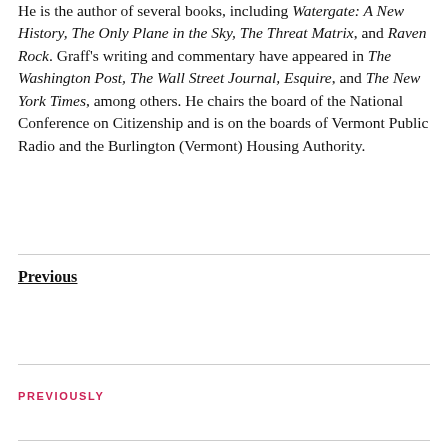He is the author of several books, including Watergate: A New History, The Only Plane in the Sky, The Threat Matrix, and Raven Rock. Graff's writing and commentary have appeared in The Washington Post, The Wall Street Journal, Esquire, and The New York Times, among others. He chairs the board of the National Conference on Citizenship and is on the boards of Vermont Public Radio and the Burlington (Vermont) Housing Authority.
Previous
PREVIOUSLY